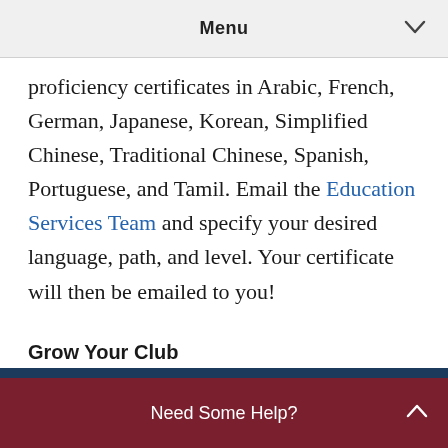Menu
proficiency certificates in Arabic, French, German, Japanese, Korean, Simplified Chinese, Traditional Chinese, Spanish, Portuguese, and Tamil. Email the Education Services Team and specify your desired language, path, and level. Your certificate will then be emailed to you!
Grow Your Club
Adding new members is a great way to
Need Some Help?